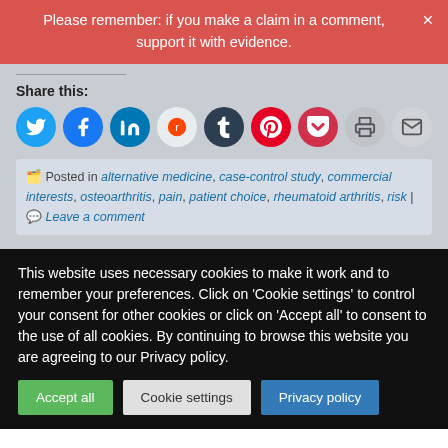Please remember: if you make a claim in a comment, support it with evidence.
Share this:
[Figure (infographic): Row of social sharing icon circles: Twitter (cyan), Facebook (blue), LinkedIn (dark blue), Reddit (light gray), Tumblr (dark navy), Pinterest (red), Pocket (dark red), Print (gray), Email (gray)]
Posted in alternative medicine, case-control study, commercial interests, osteoarthritis, pain, patient choice, rheumatoid arthritis, risk | Leave a comment
This website uses necessary cookies to make it work and to remember your preferences. Click on 'Cookie settings' to control your consent for other cookies or click on 'Accept all' to consent to the use of all cookies. By continuing to browse this website you are agreeing to our Privacy policy.
Accept all | Cookie settings | Privacy policy